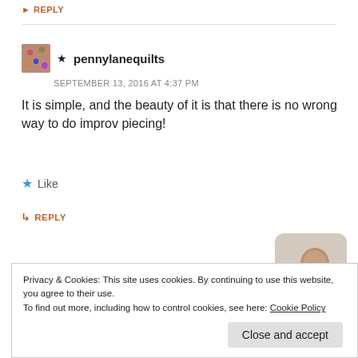▶ REPLY
★ pennylanequilts
SEPTEMBER 13, 2016 AT 4:37 PM
It is simple, and the beauty of it is that there is no wrong way to do improv piecing!
★ Like
↳ REPLY
[Figure (screenshot): Apply button (blue rectangle)]
[Figure (photo): Person sitting, wearing beige shirt, chin resting on hand]
Privacy & Cookies: This site uses cookies. By continuing to use this website, you agree to their use.
To find out more, including how to control cookies, see here: Cookie Policy
Close and accept